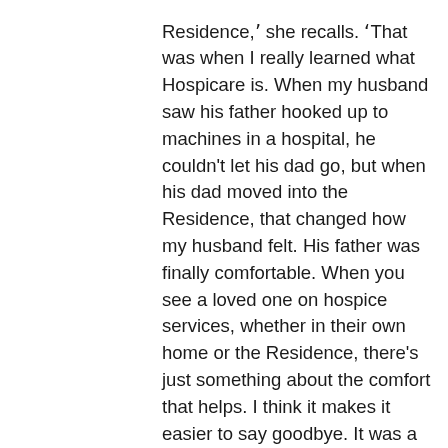Residence,' she recalls. 'That was when I really learned what Hospicare is. When my husband saw his father hooked up to machines in a hospital, he couldn't let his dad go, but when his dad moved into the Residence, that changed how my husband felt. His father was finally comfortable. When you see a loved one on hospice services, whether in their own home or the Residence, there's just something about the comfort that helps. I think it makes it easier to say goodbye. It was a magical moment to see my husband accept and let his father go."
Although Linda recently left the Hospicare Board of Directors after serving the maximum of two three-year terms, she doesn't plan to curtail her involvement with